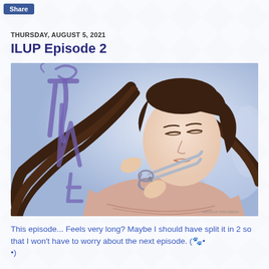Share
THURSDAY, AUGUST 5, 2021
ILUP Episode 2
[Figure (illustration): Manga/webtoon illustration of a young woman with long dark hair cutting her own hair with scissors. There are stylized purple calligraphic characters overlaid on the left side of the image. The background is light blue-lavender with soft shading.]
This episode... Feels very long? Maybe I should have split it in 2 so that I won't have to worry about the next episode. (🐾•)